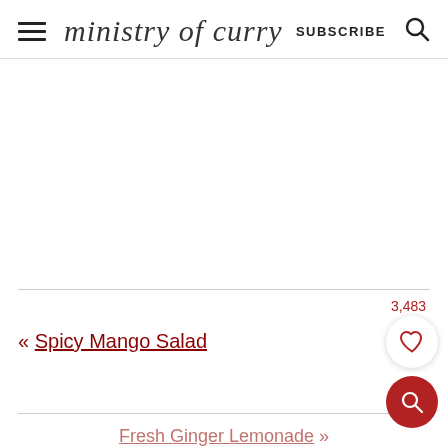ministry of curry  SUBSCRIBE
[Figure (other): Empty white advertisement area]
3,483
« Spicy Mango Salad
Fresh Ginger Lemonade »